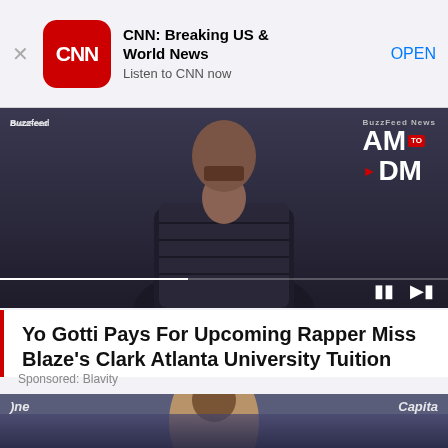[Figure (screenshot): CNN app advertisement banner with CNN logo, title 'CNN: Breaking US & World News', subtitle 'Listen to CNN now', and OPEN button]
[Figure (screenshot): BuzzFeed News AM to DM video player showing a rapper with hands pressed together in prayer pose, wearing a dark puffer jacket. Progress bar and playback controls visible. AM to DM logo in top right.]
Yo Gotti Pays For Upcoming Rapper Miss Blaze's Clark Atlanta University Tuition
Sponsored: Blavity
[Figure (photo): Photo at ESPYS red carpet event showing a tall man wearing sunglasses and a tan/beige suit, smiling, with Capital One and ESPYS branding visible in the background]